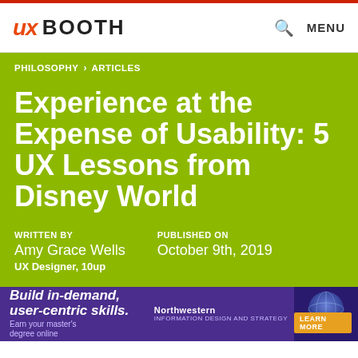UX BOOTH
Experience at the Expense of Usability: 5 UX Lessons from Disney World
WRITTEN BY
Amy Grace Wells
UX Designer, 10up
PUBLISHED ON
October 9th, 2019
[Figure (screenshot): Advertisement banner for Northwestern Information Design and Strategy master's degree program with 'Build in-demand, user-centric skills.' headline on purple background with learn more button]